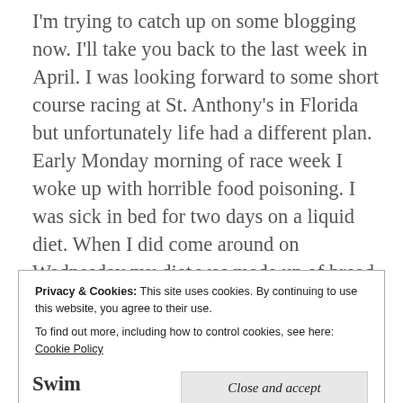I'm trying to catch up on some blogging now. I'll take you back to the last week in April. I was looking forward to some short course racing at St. Anthony's in Florida but unfortunately life had a different plan. Early Monday morning of race week I woke up with horrible food poisoning. I was sick in bed for two days on a liquid diet. When I did come around on Wednesday my diet was made up of bread and smoothies. Friday I had my first real meal when I arrived in Florida for the race on Sunday. While I wasn't working out much my body definitely was
Privacy & Cookies: This site uses cookies. By continuing to use this website, you agree to their use. To find out more, including how to control cookies, see here: Cookie Policy
Close and accept
Swim